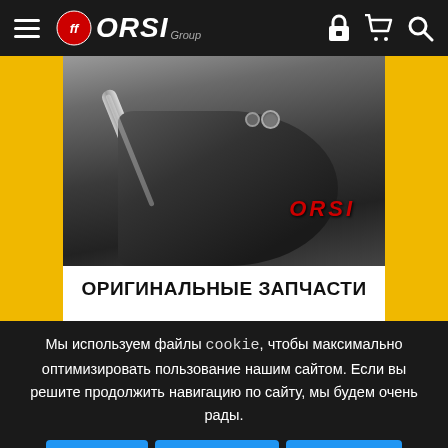ORSI Group — Navigation bar with hamburger menu, logo, lock icon, cart icon, search icon
[Figure (photo): Product photo of an ORSI branded agricultural blade/plow part on yellow background, with text ОРИГИНАЛЬНЫЕ ЗАПЧАСТИ (Original Spare Parts)]
Мы используем файлы cookie, чтобы максимально оптимизировать пользование нашим сайтом. Если вы решите продолжить навигацию по сайту, мы будем очень рады.
✕ отклонять
✔ Даю согласие
ℹ Читать далее